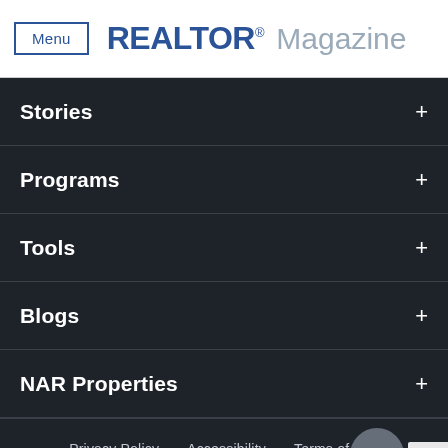Menu | REALTOR® Magazine
Stories +
Programs +
Tools +
Blogs +
NAR Properties +
Privacy Policy  Accessibility  Terms of Use  Translate ▶